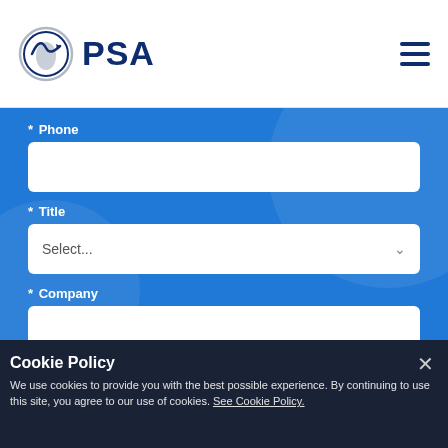PSA
* Phone
* Title
* Company
* Country
Comments
Cookie Policy
We use cookies to provide you with the best possible experience. By continuing to use this site, you agree to our use of cookies. See Cookie Policy.